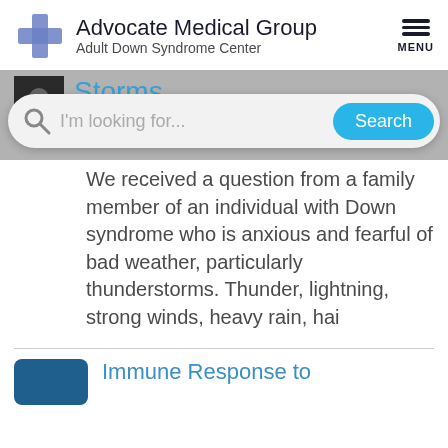[Figure (logo): Advocate Medical Group logo with blue/purple cross symbol and text 'Advocate Medical Group / Adult Down Syndrome Center']
[Figure (screenshot): Search bar overlay on gray background showing 'I'm looking for...' placeholder and blue 'Search' button, with partial article thumbnail and 'Storms' title visible behind]
We received a question from a family member of an individual with Down syndrome who is anxious and fearful of bad weather, particularly thunderstorms. Thunder, lightning, strong winds, heavy rain, hai
[Figure (photo): Partial thumbnail image for 'Immune Response to' article, dark blue rounded rectangle placeholder]
Immune Response to